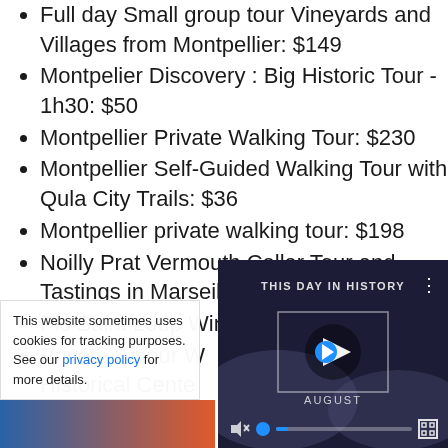Full day Small group tour Vineyards and Villages from Montpellier: $149
Montpelier Discovery : Big Historic Tour - 1h30: $50
Montpellier Private Walking Tour: $230
Montpellier Self-Guided Walking Tour with Qula City Trails: $36
Montpellier private walking tour: $198
Noilly Prat Vermouth Cellar Tour and Tastings in Marseillan: $22
Pic Saint Loup Winetour & food: $100
Private 2-hour Walking Tour of the Historical Center
Private 4-hour...
This website sometimes uses cookies for tracking purposes. See our privacy policy for more details.
[Figure (screenshot): Video player overlay showing 'THIS DAY IN HISTORY' with a play button, AUGUST label, mute icon, progress bar, and fullscreen button on a dark background with crowd imagery.]